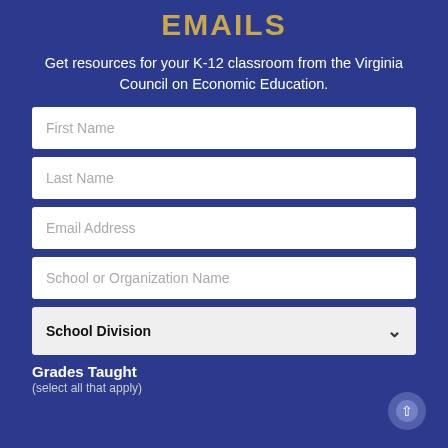EMAILS
Get resources for your K-12 classroom from the Virginia Council on Economic Education.
First Name
Last Name
Email Address
School or Organization Name
School Division
Grades Taught
(select all that apply)